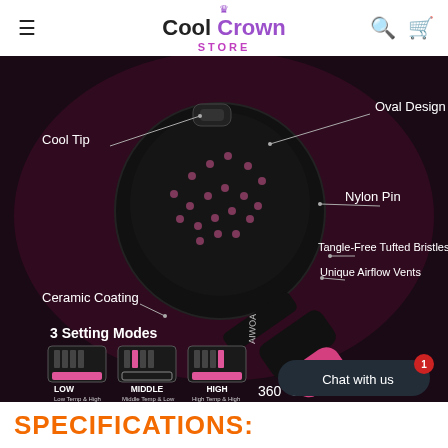Cool Crown STORE
[Figure (photo): Product infographic of a black and pink hair dryer brush (AIWOA brand) on a dark background, with labeled callouts: Oval Design, Cool Tip, Nylon Pin, Tangle-Free Tufted Bristles, Unique Airflow Vents, Ceramic Coating, 3 Setting Modes (LOW: Low Temp & High Blower Speed, MIDDLE: Middle Temp & Low Blower Speed, HIGH: High Temp & High Blower Speed), 360° Swivel (partially visible). A chat widget shows 'Chat with us' button with a badge of 1.]
SPECIFICATIONS: